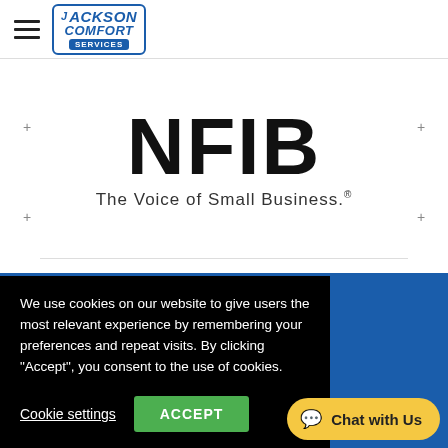[Figure (logo): Jackson Comfort Services logo in top left navigation bar]
[Figure (logo): NFIB - The Voice of Small Business logo, large bold text centered on white background]
We use cookies on our website to give users the most relevant experience by remembering your preferences and repeat visits. By clicking “Accept”, you consent to the use of cookies.
Cookie settings
ACCEPT
Chat with Us